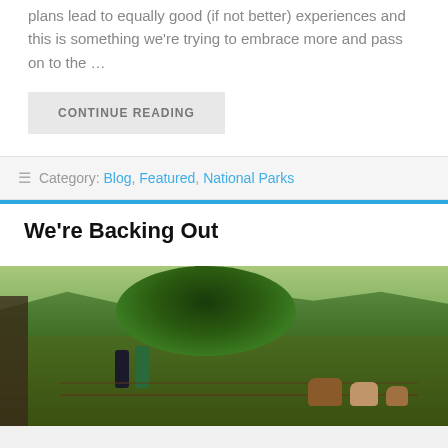plans lead to equally good (if not better) experiences and this is something we're trying to embrace more and pass on to the …
CONTINUE READING
Category: Blog, Featured, National Parks
We're Backing Out
[Figure (photo): Two people standing near a fence with livestock (horses or cattle) in a lush green rural landscape with trees and hills in the background.]